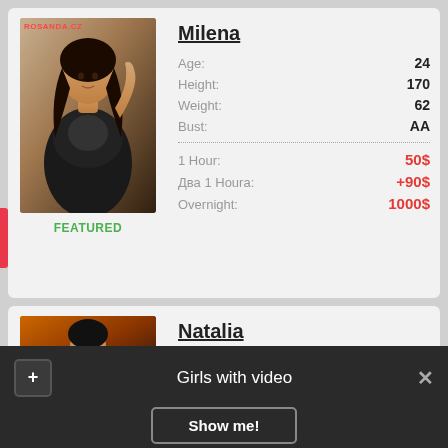[Figure (photo): Photo of Milena, woman in dark outfit]
FEATURED
Milena
| Age: | 24 |
| Height: | 170 |
| Weight: | 62 |
| Bust: | AA |
| 1 Hour: | 50$ |
| Два 1 Houra: | +90$ |
| Overnight: | 1000$ |
[Figure (photo): Photo of Natalia]
Natalia
Girls with video
Show me!